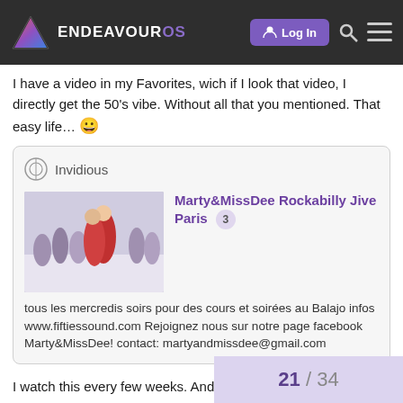EndeavourOS — navigation bar with Log In, search, and menu icons
I have a video in my Favorites, wich if I look that video, I directly get the 50's vibe. Without all that you mentioned. That easy life… 😀
[Figure (screenshot): Embedded Invidious link card showing 'Marty&MissDee Rockabilly Jive Paris' video with thumbnail of dancers and description: tous les mercredis soirs pour des cours et soirées au Balajo infos www.fiftiessound.com Rejoignez nous sur notre page facebook Marty&MissDee! contact: martyandmissdee@gmail.com]
I watch this every few weeks. And love it.
21 / 34